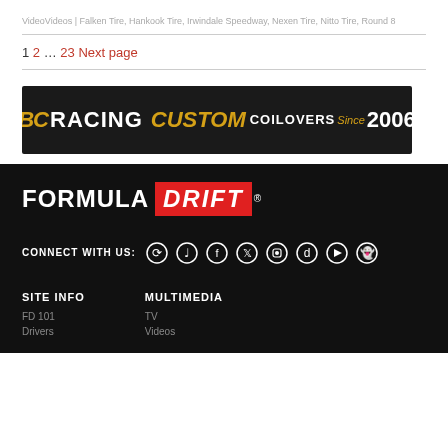VideoVideos | Falken Tire, Hankook Tire, Irwindale Speedway, Nexen Tire, Nitto Tire, Round 8
1 2 … 23 Next page
[Figure (illustration): BC Racing Custom Coilovers Since 2006 advertisement banner with dark background and gold/white text]
[Figure (logo): Formula Drift logo — FORMULA in white bold uppercase, DRIFT in white bold italic on red background, with registered trademark symbol]
CONNECT WITH US:
SITE INFO
MULTIMEDIA
FD 101
TV
Drivers
Videos